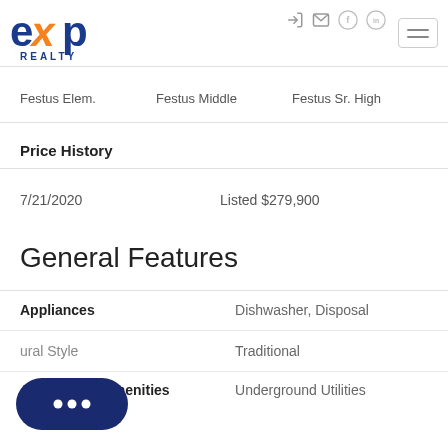[Figure (logo): eXp Realty logo with orange X and blue text]
Festus Elem.	Festus Middle	Festus Sr. High
Price History
7/21/2020	Listed $279,900
General Features
| Feature | Value |
| --- | --- |
| Appliances | Dishwasher, Disposal |
| Architectural Style | Traditional |
| Association Amenities | Underground Utilities |